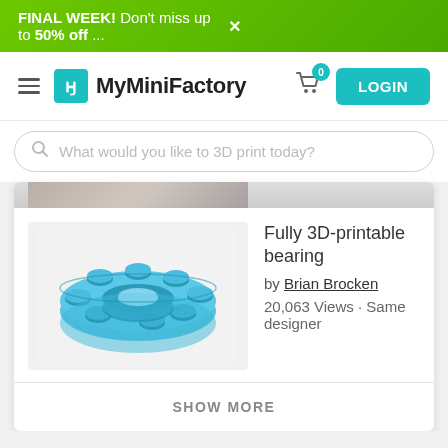FINAL WEEK! Don't miss up to 50% off ... ×
[Figure (screenshot): MyMiniFactory website navigation bar with hamburger menu, logo, cart icon with badge 0, and LOGIN button]
What would you like to 3D print today?
[Figure (photo): Partial top portion of a product image, partially visible]
Fully 3D-printable bearing
by Brian Brocken
20,063 Views · Same designer
[Figure (photo): 3D printed bearing object in blue color, showing cylindrical bearing with multiple ball bearings around the ring]
SHOW MORE
1 comments